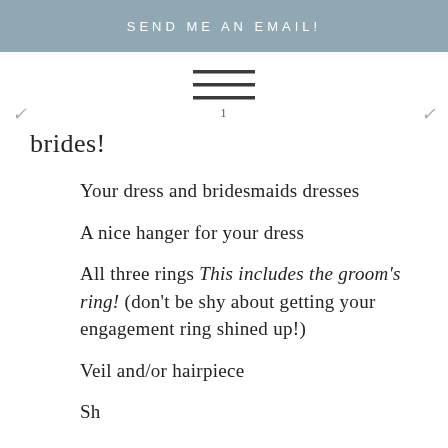SEND ME AN EMAIL!
[Figure (other): Hamburger menu icon with three horizontal lines]
1
brides!
Your dress and bridesmaids dresses
A nice hanger for your dress
All three rings This includes the groom's ring! (don't be shy about getting your engagement ring shined up!)
Veil and/or hairpiece
Shoes